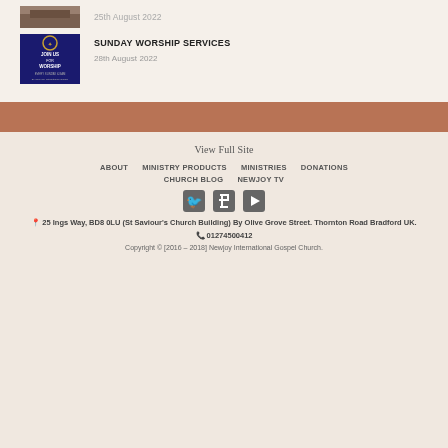[Figure (photo): Small thumbnail image of a building]
25th August 2022
[Figure (illustration): Join us for worship church graphic - dark blue background with text]
SUNDAY WORSHIP SERVICES
28th August 2022
View Full Site
ABOUT
MINISTRY PRODUCTS
MINISTRIES
DONATIONS
CHURCH BLOG
NEWJOY TV
[Figure (logo): Twitter, Facebook, and YouTube social media icons]
25 Ings Way, BD8 0LU (St Saviour's Church Building) By Olive Grove Street. Thornton Road Bradford UK.
01274500412
Copyright © [2016 – 2018] Newjoy International Gospel Church.